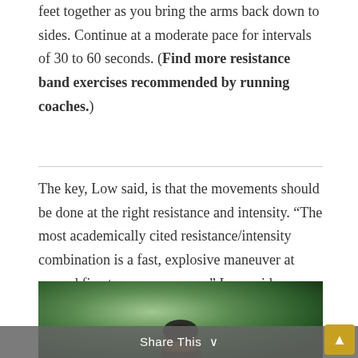feet together as you bring the arms back down to sides. Continue at a moderate pace for intervals of 30 to 60 seconds. (Find more resistance band exercises recommended by running coaches.)
The key, Low said, is that the movements should be done at the right resistance and intensity. “The most academically cited resistance/intensity combination is a fast, explosive maneuver at around five to seven rep max,” Low said.
[Figure (photo): A person running or exercising outdoors, visible from approximately the shoulders up, with a blurred green outdoor background.]
Share This